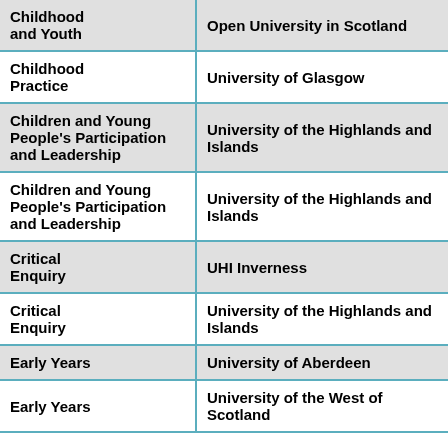| Subject | Institution |
| --- | --- |
| Childhood and Youth | Open University in Scotland |
| Childhood Practice | University of Glasgow |
| Children and Young People's Participation and Leadership | University of the Highlands and Islands |
| Children and Young People's Participation and Leadership | University of the Highlands and Islands |
| Critical Enquiry | UHI Inverness |
| Critical Enquiry | University of the Highlands and Islands |
| Early Years | University of Aberdeen |
| Early Years | University of the West of Scotland |